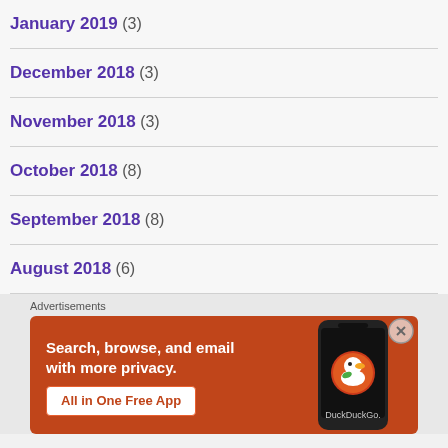January 2019 (3)
December 2018 (3)
November 2018 (3)
October 2018 (8)
September 2018 (8)
August 2018 (6)
[Figure (screenshot): DuckDuckGo advertisement banner: orange background with text 'Search, browse, and email with more privacy. All in One Free App' and a phone displaying the DuckDuckGo logo.]